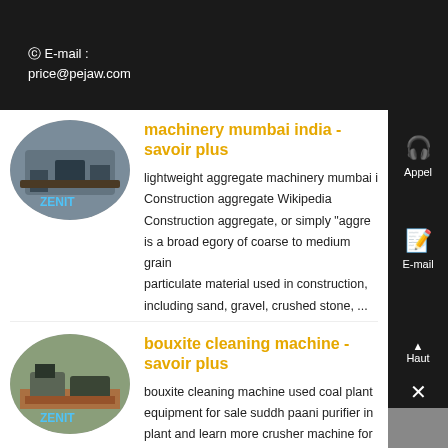E-mail : price@pejaw.com
machinery mumbai india - savoir plus
lightweight aggregate machinery mumbai i Construction aggregate Wikipedia Construction aggregate, or simply "aggre is a broad egory of coarse to medium grain particulate material used in construction, including sand, gravel, crushed stone, ...
[Figure (photo): Oval-shaped photo of industrial machinery at a construction site, branded ZENIT]
bouxite cleaning machine - savoir plus
bouxite cleaning machine used coal plant equipment for sale suddh paani purifier in plant and learn more crusher machine for s
[Figure (photo): Oval-shaped photo of mining/cleaning machine on red earth, branded ZENIT]